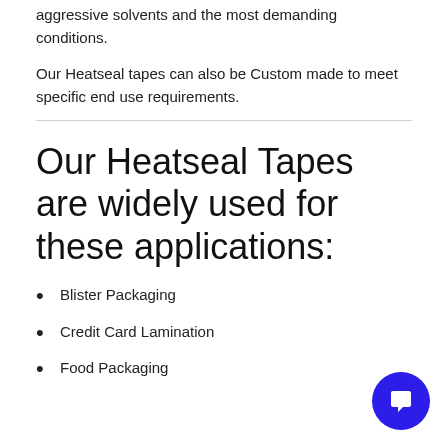aggressive solvents and the most demanding conditions.
Our Heatseal tapes can also be Custom made to meet specific end use requirements.
Our Heatseal Tapes are widely used for these applications:
Blister Packaging
Credit Card Lamination
Food Packaging